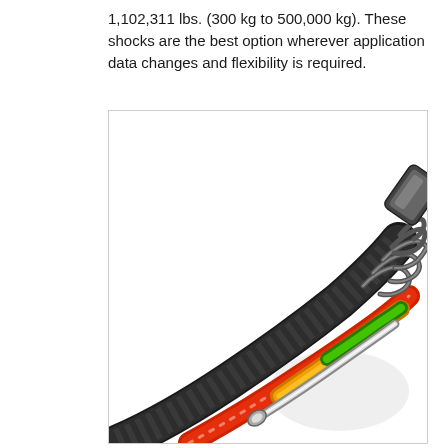1,102,311 lbs. (300 kg to 500,000 kg). These shocks are the best option wherever application data changes and flexibility is required.
[Figure (engineering-diagram): Cut-away cross-section illustration of a heavy-duty shock absorber / damper assembly, shown at a diagonal angle. The image shows the internal components including a coil spring at the top, a chrome piston rod, colored internal chambers (green, orange/yellow, red), and the outer black corrugated housing tube wrapping around the assembly.]